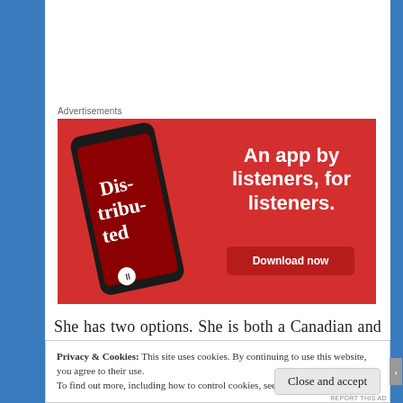Advertisements
[Figure (illustration): Red advertisement banner for a podcast app showing a smartphone with 'Distributed' podcast cover, text 'An app by listeners, for listeners.' and a 'Download now' button]
She has two options. She is both a Canadian and a
Privacy & Cookies: This site uses cookies. By continuing to use this website, you agree to their use.
To find out more, including how to control cookies, see here: Cookie Policy
Close and accept